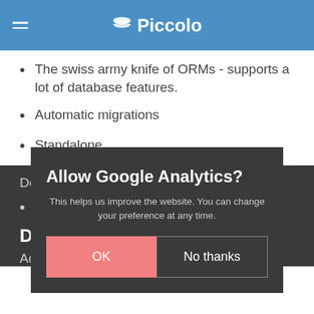Piccolo
The swiss army knife of ORMs - supports a lot of database features.
Automatic migrations
Standalone
Downsides:
Steep le...
Djan...
Advantages:
[Figure (screenshot): Cookie consent modal dialog with title 'Allow Google Analytics?', body text 'This helps us improve the website. You can change your preference at any time.', and two buttons: 'OK' (pink/red) and 'No thanks' (outlined).]